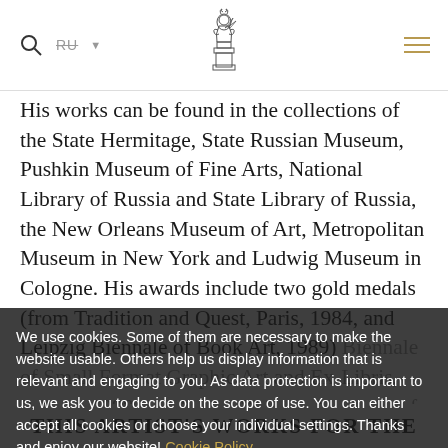RU | [logo] | [hamburger menu]
His works can be found in the collections of the State Hermitage, State Russian Museum, Pushkin Museum of Fine Arts, National Library of Russia and State Library of Russia, the New Orleans Museum of Art, Metropolitan Museum in New York and Ludwig Museum in Cologne. His awards include two gold medals (from Tradition and Quest, Paris, 1984, and Leipzig Biennale of Book Art, 1989) Biennale of Small Format Graphic Art and Ex-Libris, Peking, 1998, and by the Russian Academy of Arts, Moscow, 2004).
We use cookies. Some of them are necessary to make the website usable. Others help us display information that is relevant and engaging to you. As data protection is important to us, we ask you to decide on the scope of use. You can either accept all cookies or choose your individual settings. Thanks and enjoy our website! Cookie Policy ACCEPT
THIS ARTIST'S WORKS FOR THE